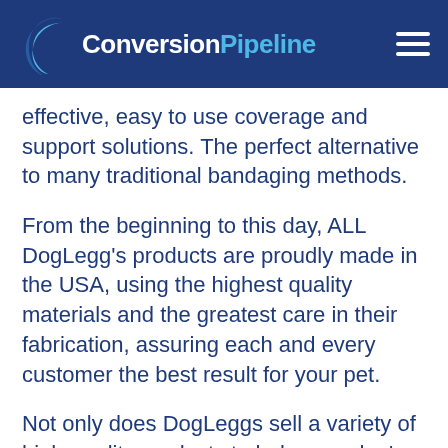[Figure (logo): Conversion Pipeline logo with blue crescent wave icon and white/cyan text on dark blue header background with hamburger menu icon]
effective, easy to use coverage and support solutions. The perfect alternative to many traditional bandaging methods.
From the beginning to this day, ALL DogLegg's products are proudly made in the USA, using the highest quality materials and the greatest care in their fabrication, assuring each and every customer the best result for your pet.
Not only does DogLeggs sell a variety of high-quality products to help your dog's mobility, they also have an abundance of resources and